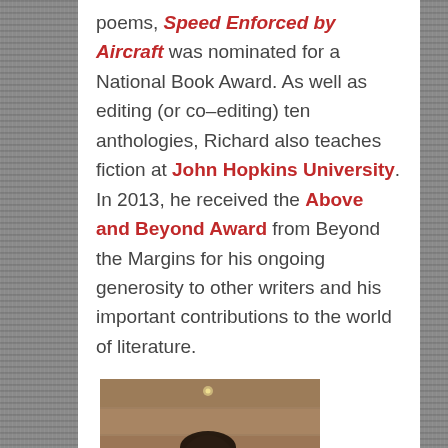poems, Speed Enforced by Aircraft was nominated for a National Book Award. As well as editing (or co-editing) ten anthologies, Richard also teaches fiction at John Hopkins University. In 2013, he received the Above and Beyond Award from Beyond the Margins for his ongoing generosity to other writers and his important contributions to the world of literature.
[Figure (photo): Partial photo of a man with dark hair and glasses, looking down, seated in front of a wooden/stone background]